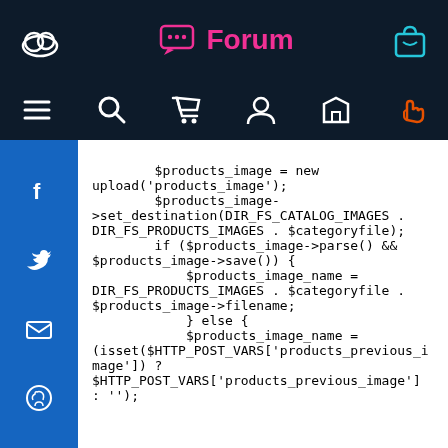Forum
[Figure (screenshot): Navigation bar with menu, search, cart, user, home, and hand/pointer icons on dark background]